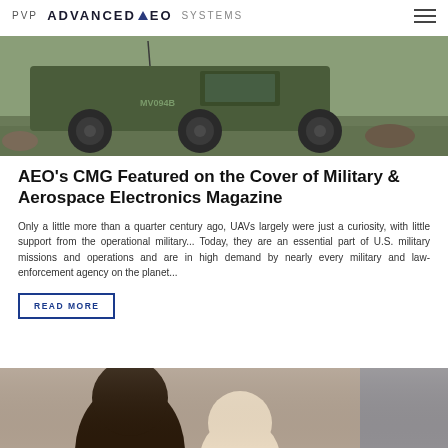PVP ADVANCED EO SYSTEMS
[Figure (photo): Military vehicle (green 6-wheeled military truck with marking MV094B) photographed outdoors on terrain]
AEO's CMG Featured on the Cover of Military & Aerospace Electronics Magazine
Only a little more than a quarter century ago, UAVs largely were just a curiosity, with little support from the operational military... Today, they are an essential part of U.S. military missions and operations and are in high demand by nearly every military and law-enforcement agency on the planet...
READ MORE
[Figure (photo): Two people (adults/children) looking upward, partial view at bottom of page]